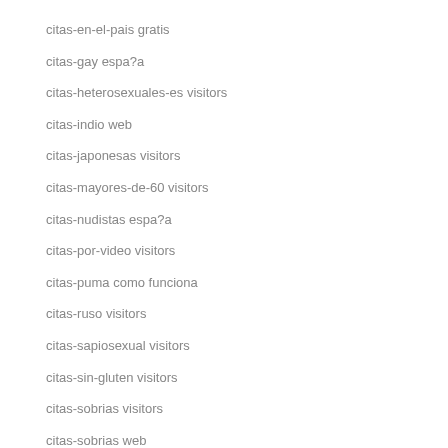citas-en-el-pais gratis
citas-gay espa?a
citas-heterosexuales-es visitors
citas-indio web
citas-japonesas visitors
citas-mayores-de-60 visitors
citas-nudistas espa?a
citas-por-video visitors
citas-puma como funciona
citas-ruso visitors
citas-sapiosexual visitors
citas-sin-gluten visitors
citas-sobrias visitors
citas-sobrias web
clarksville escort